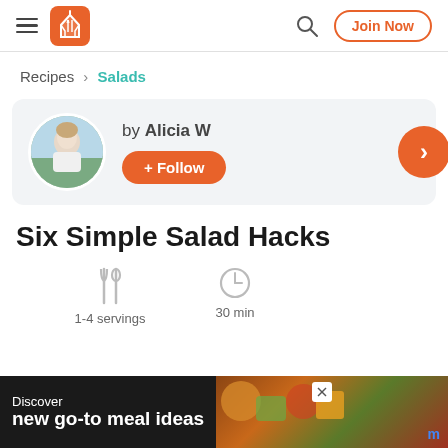Navigation header with hamburger menu, house/fork logo, search icon, and Join Now button
Recipes › Salads
[Figure (screenshot): Author card with circular avatar photo of Alicia W, text 'by Alicia W', and orange '+ Follow' button on grey background]
Six Simple Salad Hacks
1-4 servings    30 min
[Figure (screenshot): Advertisement banner: 'Discover new go-to meal ideas' with food background image and 'm' logo]